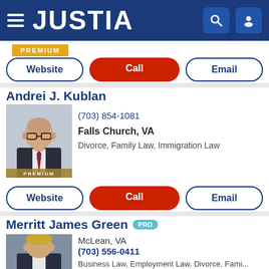JUSTIA
[Figure (screenshot): Justia website navigation bar with hamburger menu, JUSTIA logo, search icon and user icon on dark blue background]
[Figure (screenshot): PREMIUM gold badge]
[Figure (other): Website, Call, Email action buttons]
Andrei J. Kublan
[Figure (photo): Professional headshot of Andrei J. Kublan, a bald man wearing glasses, dark suit and striped tie, with PREMIUM badge at bottom]
(703) 854-1081
Falls Church, VA
Divorce, Family Law, Immigration Law
[Figure (other): Website, Call, Email action buttons]
Merritt James Green PRO
[Figure (photo): Professional headshot of Merritt James Green, a blonde man in a suit]
McLean, VA
(703) 556-0411
Business Law, Employment Law, Divorce, Fami...